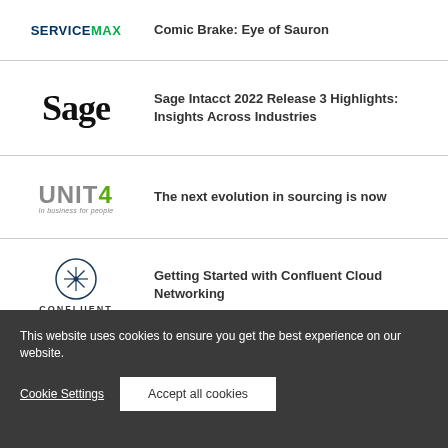[Figure (logo): ServiceMax logo — SERVICE in dark navy bold, MAX in green bold]
Comic Brake: Eye of Sauron
[Figure (logo): Sage logo in large serif font]
Sage Intacct 2022 Release 3 Highlights: Insights Across Industries
[Figure (logo): Unit4 logo — UNIT4 in grey uppercase with green 4, tagline 'In business for people']
The next evolution in sourcing is now
[Figure (logo): Confluent logo — circle with asterisk/star symbol, CONFLUENT text below]
Getting Started with Confluent Cloud Networking
This website uses cookies to ensure you get the best experience on our website.
Cookie Settings
Accept all cookies